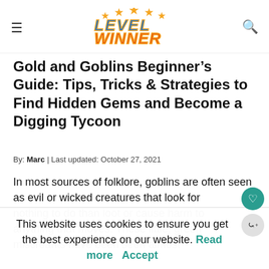Level Winner — The #1 Source for iOS and Android Game Guides
Gold and Goblins Beginner's Guide: Tips, Tricks & Strategies to Find Hidden Gems and Become a Digging Tycoon
By: Marc | Last updated: October 27, 2021
In most sources of folklore, goblins are often seen as evil or wicked creatures that look for nothing to do than loot or cause harm to anything that moves. These little, green miscreants have been seen almost
This website uses cookies to ensure you get the best experience on our website. Read more   Accept